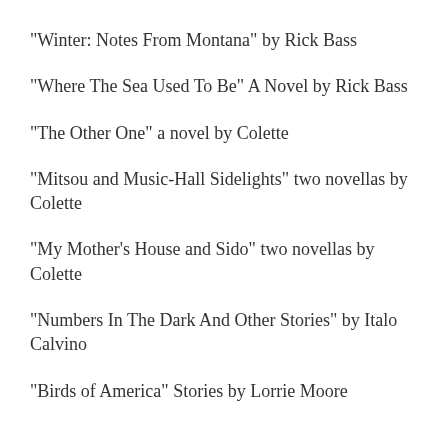"Winter: Notes From Montana" by Rick Bass
"Where The Sea Used To Be" A Novel by Rick Bass
"The Other One" a novel by Colette
"Mitsou and Music-Hall Sidelights" two novellas by Colette
"My Mother's House and Sido" two novellas by Colette
"Numbers In The Dark And Other Stories" by Italo Calvino
"Birds of America" Stories by Lorrie Moore